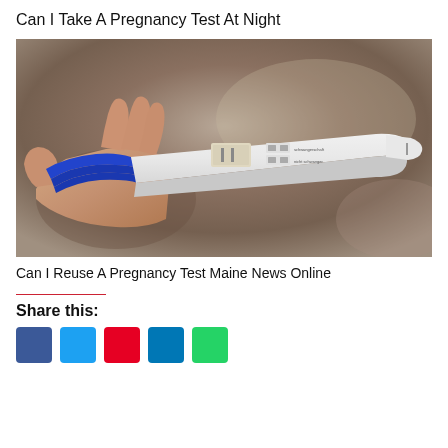Can I Take A Pregnancy Test At Night
[Figure (photo): A hand holding a white pregnancy test device with blue handle, shown against a blurred brown background. The test shows results in a small window.]
Can I Reuse A Pregnancy Test Maine News Online
Share this: